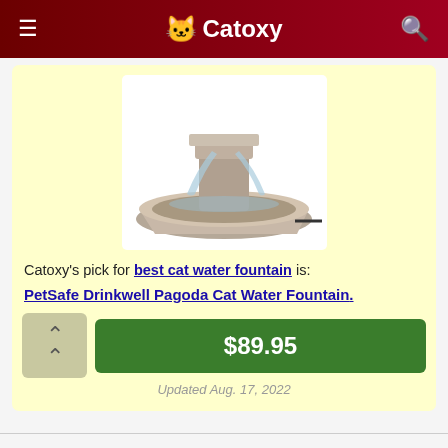☰  🐱 Catoxy  🔍
[Figure (photo): PetSafe Drinkwell Pagoda Cat Water Fountain product photo showing a taupe/tan ceramic fountain with flowing water on a white background]
Catoxy's pick for best cat water fountain is:
PetSafe Drinkwell Pagoda Cat Water Fountain.
$89.95
Updated Aug. 17, 2022